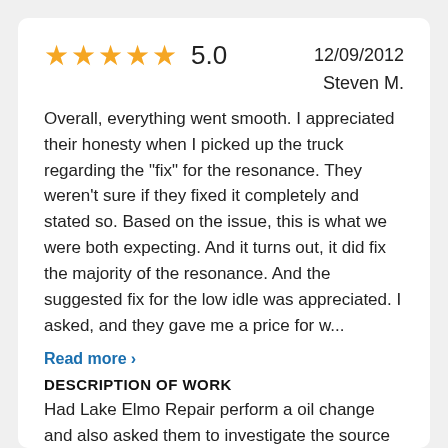★★★★★ 5.0   12/09/2012
Steven M.
Overall, everything went smooth. I appreciated their honesty when I picked up the truck regarding the "fix" for the resonance. They weren't sure if they fixed it completely and stated so. Based on the issue, this is what we were both expecting. And it turns out, it did fix the majority of the resonance. And the suggested fix for the low idle was appreciated. I asked, and they gave me a price for w...
Read more ›
DESCRIPTION OF WORK
Had Lake Elmo Repair perform a oil change and also asked them to investigate the source of some resonance noise at specific RPM. The oil change was completed and they also worked on "adjusting" a